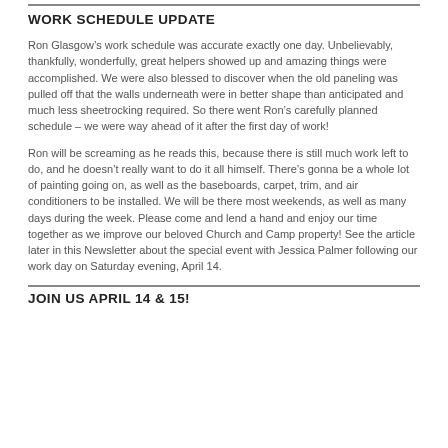WORK SCHEDULE UPDATE
Ron Glasgow’s work schedule was accurate exactly one day. Unbelievably, thankfully, wonderfully, great helpers showed up and amazing things were accomplished. We were also blessed to discover when the old paneling was pulled off that the walls underneath were in better shape than anticipated and much less sheetrocking required. So there went Ron’s carefully planned schedule – we were way ahead of it after the first day of work!
Ron will be screaming as he reads this, because there is still much work left to do, and he doesn’t really want to do it all himself. There’s gonna be a whole lot of painting going on, as well as the baseboards, carpet, trim, and air conditioners to be installed. We will be there most weekends, as well as many days during the week. Please come and lend a hand and enjoy our time together as we improve our beloved Church and Camp property! See the article later in this Newsletter about the special event with Jessica Palmer following our work day on Saturday evening, April 14.
JOIN US APRIL 14 & 15!